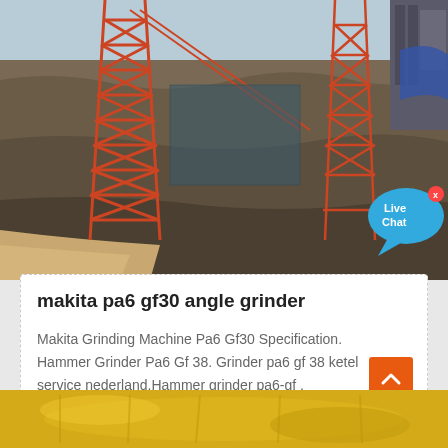[Figure (photo): Mining/quarry scene with red steel lattice crane towers, conveyor structures against rocky hillside. Orange hexagonal logo with letters 'AM' visible in lower right of photo. Live Chat speech bubble overlay in lower right corner.]
makita pa6 gf30 angle grinder
Makita Grinding Machine Pa6 Gf30 Specification. Hammer Grinder Pa6 Gf 38. Grinder pa6 gf 38 ketel service nederland.Hammer grinder pa6-gf .
[Figure (photo): Partial bottom image showing yellow/gold colored industrial equipment, cropped at page bottom.]